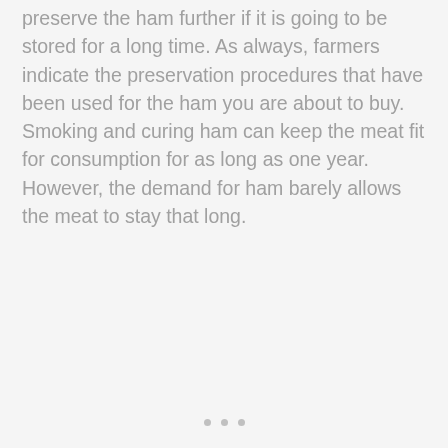preserve the ham further if it is going to be stored for a long time. As always, farmers indicate the preservation procedures that have been used for the ham you are about to buy. Smoking and curing ham can keep the meat fit for consumption for as long as one year. However, the demand for ham barely allows the meat to stay that long.